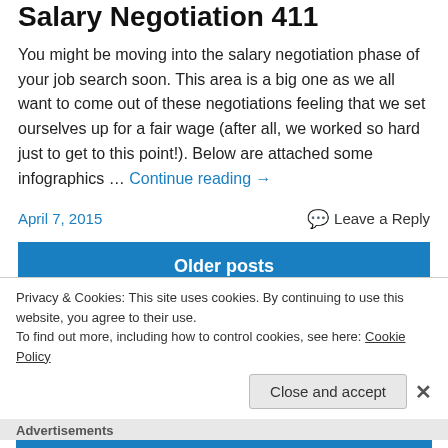Salary Negotiation 411
You might be moving into the salary negotiation phase of your job search soon. This area is a big one as we all want to come out of these negotiations feeling that we set ourselves up for a fair wage (after all, we worked so hard just to get to this point!). Below are attached some infographics … Continue reading →
April 7, 2015   Leave a Reply
Older posts
Privacy & Cookies: This site uses cookies. By continuing to use this website, you agree to their use.
To find out more, including how to control cookies, see here: Cookie Policy
Close and accept
Advertisements